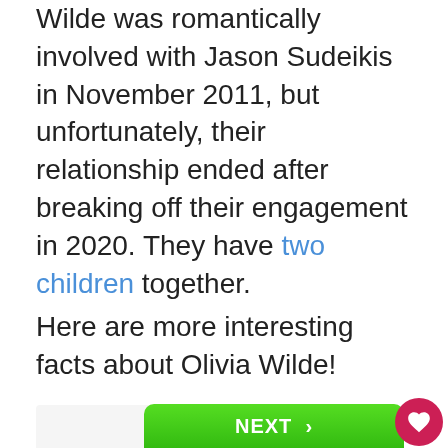Wilde was romantically involved with Jason Sudeikis in November 2011, but unfortunately, their relationship ended after breaking off their engagement in 2020. They have two children together.
Here are more interesting facts about Olivia Wilde!
[Figure (screenshot): Bottom portion showing a green NEXT button and a sidebar with a heart/like button showing count 1, and a share button]